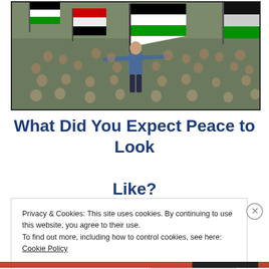[Figure (photo): Crowd of people at a large outdoor rally or protest, many waving Palestinian flags. A man stands elevated with arms outstretched in the center foreground.]
What Did You Expect Peace to Look Like?
Privacy & Cookies: This site uses cookies. By continuing to use this website, you agree to their use.
To find out more, including how to control cookies, see here: Cookie Policy
Close and accept